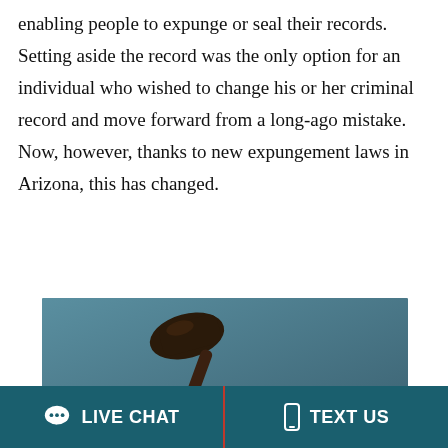enabling people to expunge or seal their records. Setting aside the record was the only option for an individual who wished to change his or her criminal record and move forward from a long-ago mistake. Now, however, thanks to new expungement laws in Arizona, this has changed.
[Figure (photo): Photo of a judge's gavel against a teal/slate background with bold white text overlay reading 'NEW ARIZONA']
LIVE CHAT   TEXT US